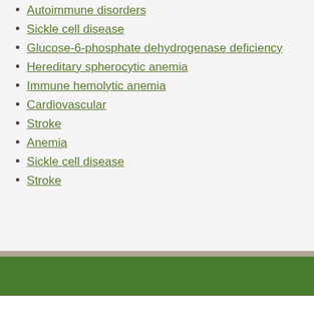Autoimmune disorders
Sickle cell disease
Glucose-6-phosphate dehydrogenase deficiency
Hereditary spherocytic anemia
Immune hemolytic anemia
Cardiovascular
Stroke
Anemia
Sickle cell disease
Stroke